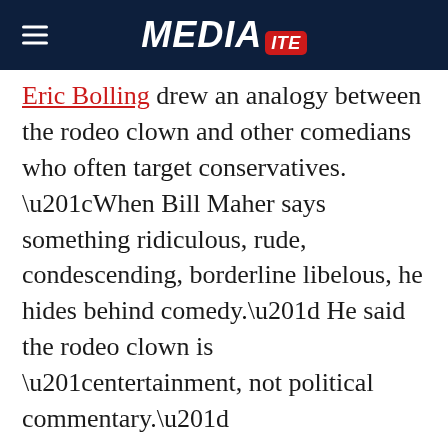MEDIAITE
Eric Bolling drew an analogy between the rodeo clown and other comedians who often target conservatives. “When Bill Maher says something ridiculous, rude, condescending, borderline libelous, he hides behind comedy.” He said the rodeo clown is “entertainment, not political commentary.”
Watch video below, via Fox News: